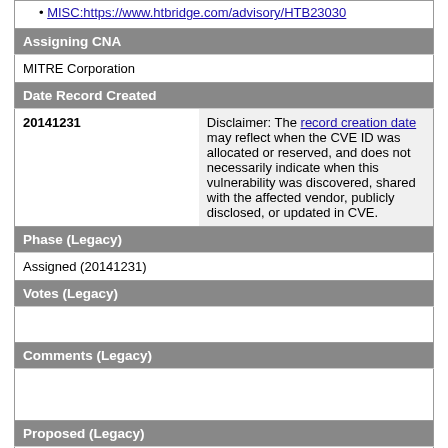MISC:https://www.htbridge.com/advisory/HTB23030
Assigning CNA
MITRE Corporation
Date Record Created
| 20141231 | Disclaimer: The record creation date may reflect when the CVE ID was allocated or reserved, and does not necessarily indicate when this vulnerability was discovered, shared with the affected vendor, publicly disclosed, or updated in CVE. |
Phase (Legacy)
Assigned (20141231)
Votes (Legacy)
Comments (Legacy)
Proposed (Legacy)
N/A